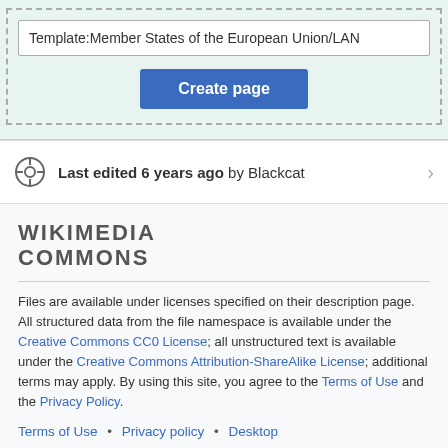[Figure (screenshot): Input field showing 'Template:Member States of the European Union/LAN' with a 'Create page' button below, inside a dashed border on a light green background]
Last edited 6 years ago by Blackcat
[Figure (logo): Wikimedia Commons logo text in bold dark grey uppercase letters]
Files are available under licenses specified on their description page. All structured data from the file namespace is available under the Creative Commons CC0 License; all unstructured text is available under the Creative Commons Attribution-ShareAlike License; additional terms may apply. By using this site, you agree to the Terms of Use and the Privacy Policy.
Terms of Use • Privacy policy • Desktop